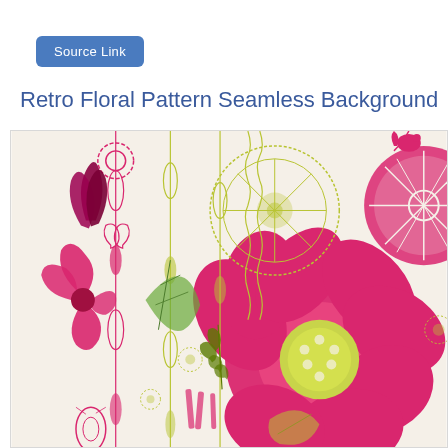Source Link
Retro Floral Pattern Seamless Background
[Figure (illustration): Retro floral pattern seamless background illustration featuring large pink/magenta flowers with yellow-green centers, decorative art nouveau style line-work ornaments in pink and olive green, leaves, small floral motifs, and intricate geometric patterns on a cream/off-white background.]